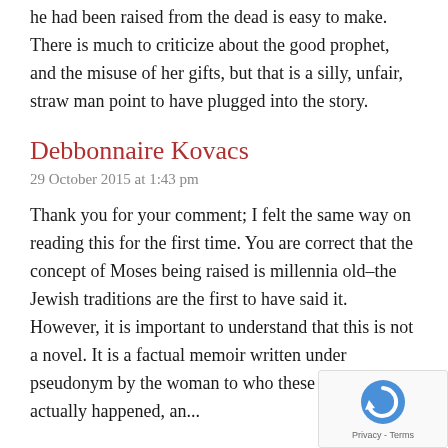he had been raised from the dead is easy to make. There is much to criticize about the good prophet, and the misuse of her gifts, but that is a silly, unfair, straw man point to have plugged into the story.
Debbonnaire Kovacs
29 October 2015 at 1:43 pm
Thank you for your comment; I felt the same way on reading this for the first time. You are correct that the concept of Moses being raised is millennia old–the Jewish traditions are the first to have said it. However, it is important to understand that this is not a novel. It is a factual memoir written under pseudonym by the woman to who these things actually happened, an...